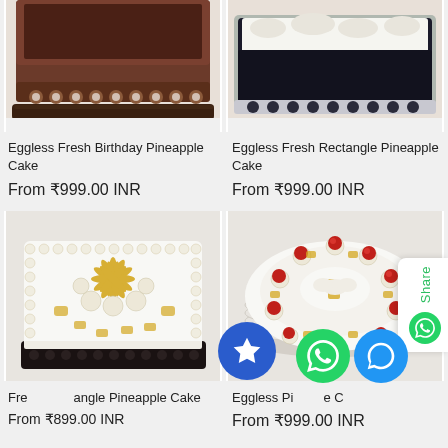[Figure (photo): Eggless Fresh Birthday Pineapple Cake - rectangular brown chocolate cake with decorative border, cropped top view]
[Figure (photo): Eggless Fresh Rectangle Pineapple Cake - dark rectangular cake with white cream topping and decorative border]
Eggless Fresh Birthday Pineapple Cake
Eggless Fresh Rectangle Pineapple Cake
From ₹999.00 INR
From ₹999.00 INR
[Figure (photo): Fresh Rectangle Pineapple Cake - square white cream cake with golden pineapple floral decoration on top, dark base]
[Figure (photo): Eggless Pineapple Cake - round white cream cake decorated with red cherries and pineapple pieces around the border]
Fresh Rectangle Pineapple Cake
Eggless Pineapple Cake
From ₹899.00 INR
From ₹999.00 INR